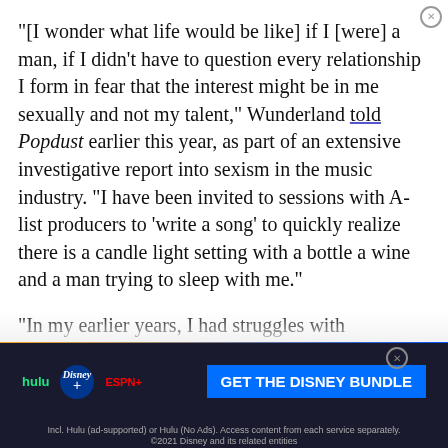"[I wonder what life would be like] if I [were] a man, if I didn't have to question every relationship I form in fear that the interest might be in me sexually and not my talent," Wunderland told Popdust earlier this year, as part of an extensive investigative report into sexism in the music industry. "I have been invited to sessions with A-list producers to 'write a song' to quickly realize there is a candle light setting with a bottle a wine and a man trying to sleep with me."
"In my earlier years, I had struggles with bandmates feeling upset about whether or not the angle of the
[Figure (screenshot): Disney Bundle advertisement banner showing Hulu, Disney+, and ESPN+ logos with 'GET THE DISNEY BUNDLE' call-to-action button in blue. Fine print reads: Incl. Hulu (ad-supported) or Hulu (No Ads). Access content from each service separately. ©2021 Disney and its related entities]